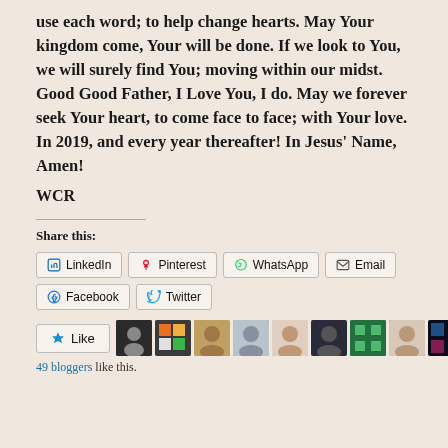use each word; to help change hearts. May Your kingdom come, Your will be done. If we look to You, we will surely find You; moving within our midst. Good Good Father, I Love You, I do. May we forever seek Your heart, to come face to face; with Your love. In 2019, and every year thereafter! In Jesus' Name, Amen!
WCR
Share this:
LinkedIn Pinterest WhatsApp Email Facebook Twitter
[Figure (other): Like button and row of blogger avatars with '49 bloggers like this.' text]